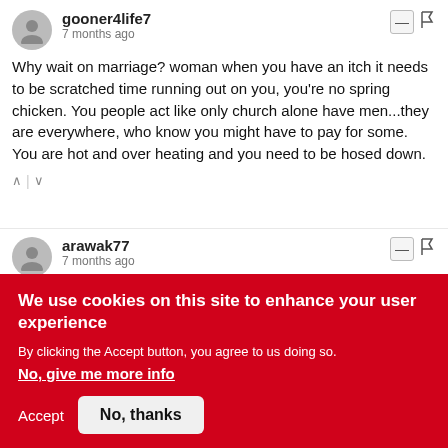gooner4life7 · 7 months ago
Why wait on marriage? woman when you have an itch it needs to be scratched time running out on you, you're no spring chicken. You people act like only church alone have men...they are everywhere, who know you might have to pay for some. You are hot and over heating and you need to be hosed down.
arawak77 · 7 months ago
I still don't understand why men and women in Jamaica use the church to quell their natural instincts to mate and partner. Go find a single, decent man and enjoy yourself. You're 60 years
We use cookies on this site to enhance your user experience
By clicking the Accept button, you agree to us doing so.
No, give me more info
Accept   No, thanks